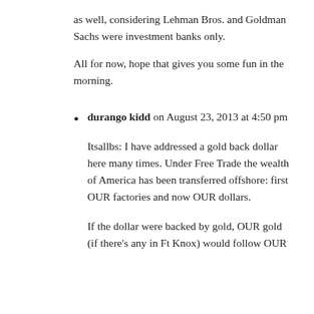as well, considering Lehman Bros. and Goldman Sachs were investment banks only.

All for now, hope that gives you some fun in the morning.
durango kidd on August 23, 2013 at 4:50 pm

Itsallbs: I have addressed a gold back dollar here many times. Under Free Trade the wealth of America has been transferred offshore: first OUR factories and now OUR dollars.

If the dollar were backed by gold, OUR gold (if there's any in Ft Knox) would follow OUR